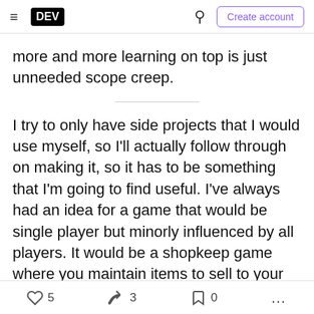DEV | Search | Create account
more and more learning on top is just unneeded scope creep.
I try to only have side projects that I would use myself, so I'll actually follow through on making it, so it has to be something that I'm going to find useful. I've always had an idea for a game that would be single player but minorly influenced by all players. It would be a shopkeep game where you maintain items to sell to your NPCs, but the prices the NPCs are willing to pay are influenced by the "market". You
5  3  0  ...